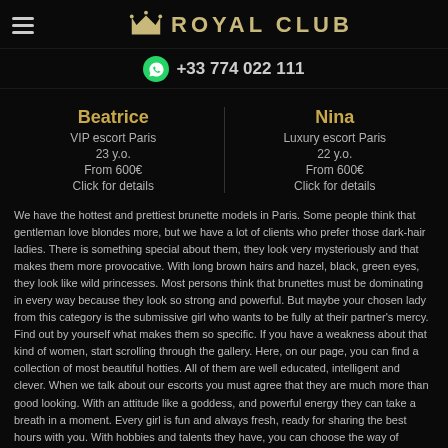ROYAL CLUB
+33 774 022 111
Beatrice
VIP escort Paris
23 y.o.
From 600€
Click for details
Nina
Luxury escort Paris
22 y.o.
From 600€
Click for details
We have the hottest and prettiest brunette models in Paris. Some people think that gentleman love blondes more, but we have a lot of clients who prefer those dark-hair ladies. There is something special about them, they look very mysteriously and that makes them more provocative. With long brown hairs and hazel, black, green eyes, they look like wild princesses. Most persons think that brunettes must be dominating in every way because they look so strong and powerful. But maybe your chosen lady from this category is the submissive girl who wants to be fully at their partner's mercy. Find out by yourself what makes them so specific. If you have a weakness about that kind of women, start scrolling through the gallery. Here, on our page, you can find a collection of most beautiful hotties. All of them are well educated, intelligent and clever. When we talk about our escorts you must agree that they are much more than good looking. With an attitude like a goddess, and powerful energy they can take a breath in a moment. Every girl is fun and always fresh, ready for sharing the best hours with you. With hobbies and talents they have, you can choose the way of spending your time together. You can ask your chosen girl to take you to some historical